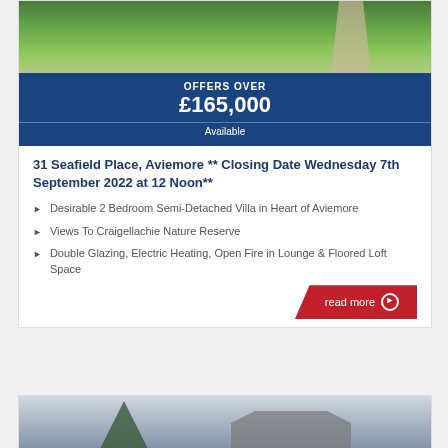[Figure (photo): Aerial or garden view photo of property with grass and path]
OFFERS OVER
£165,000
Available
31 Seafield Place, Aviemore ** Closing Date Wednesday 7th September 2022 at 12 Noon**
Desirable 2 Bedroom Semi-Detached Villa in Heart of Aviemore
Views To Craigellachie Nature Reserve
Double Glazing, Electric Heating, Open Fire in Lounge & Floored Loft Space
read more
[Figure (photo): Partial view of another property listing showing a house with trees]